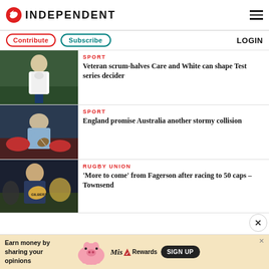INDEPENDENT
Contribute | Subscribe | LOGIN
[Figure (photo): Rugby player in white England jersey standing on field]
SPORT
Veteran scrum-halves Care and White can shape Test series decider
[Figure (photo): England rugby player holding ball in a scrum situation]
SPORT
England promise Australia another stormy collision
[Figure (photo): Rugby player holding a Gilbert ball, celebrating 50 caps]
RUGBY UNION
'More to come' from Fagerson after racing to 50 caps – Townsend
Earn money by sharing your opinions